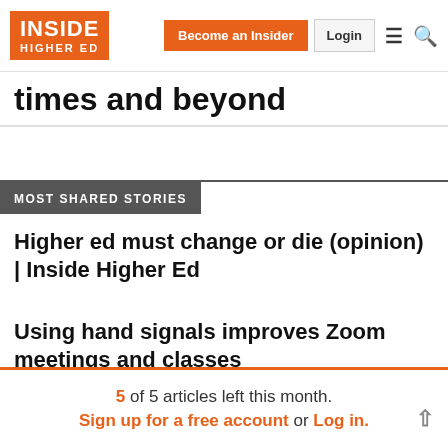Inside Higher Ed | Become an Insider | Login
times and beyond
MOST SHARED STORIES
Higher ed must change or die (opinion) | Inside Higher Ed
Using hand signals improves Zoom meetings and classes
Seven professor actions that contribute to
5 of 5 articles left this month. Sign up for a free account or Log in.